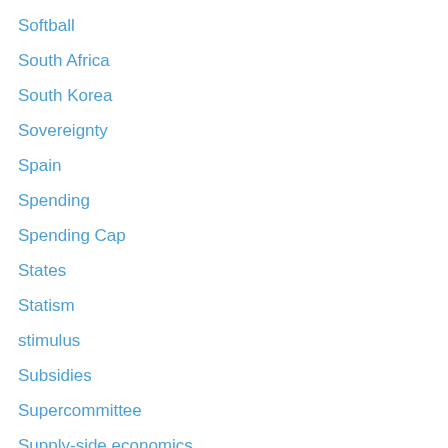Softball
South Africa
South Korea
Sovereignty
Spain
Spending
Spending Cap
States
Statism
stimulus
Subsidies
Supercommittee
Supply-side economics
Supreme Court
Swedem
Sweden
Switzerland
TABOR
Taiwan
TARP